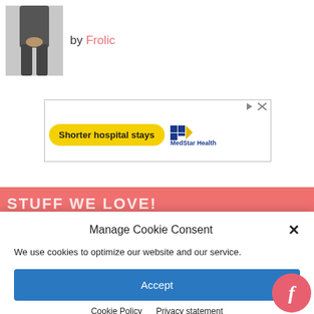[Figure (photo): Small photo of a person from the waist down, wearing dark pants, standing outdoors]
by Frolic
[Figure (other): Advertisement banner: 'Shorter hospital stays' on yellow rounded button, MedStar Health logo on right, with ad controls (play and X icons) at top right]
STUFF WE LOVE!
Manage Cookie Consent
We use cookies to optimize our website and our service.
Accept
Cookie Policy   Privacy statement